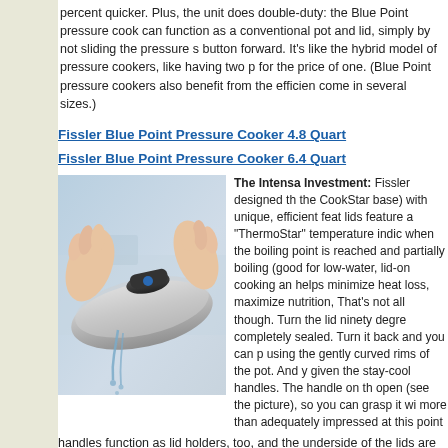percent quicker. Plus, the unit does double-duty: the Blue Point pressure cooker can function as a conventional pot and lid, simply by not sliding the pressure selector button forward. It's like the hybrid model of pressure cookers, like having two pots for the price of one. (Blue Point pressure cookers also benefit from the efficient and come in several sizes.)
Fissler Blue Point Pressure Cooker 4.8 Quart
Fissler Blue Point Pressure Cooker 6.4 Quart
[Figure (photo): Hands pouring liquid from a stainless steel pressure cooker lid, with water dripping from the curved rim against a blurred light background.]
The Intensa Investment: Fissler designed the (the CookStar base) with unique, efficient features. lids feature a "ThermoStar" temperature indicator when the boiling point is reached and partially boiling (good for low-water, lid-on cooking and helps minimize heat loss, maximize nutrition, That's not all though. Turn the lid ninety degrees completely sealed. Turn it back and you can pour using the gently curved rims of the pot. And you given the stay-cool handles. The handle on the open (see the picture), so you can grasp it with more than adequately impressed at this point.
handles function as lid holders, too, and the underside of the lids are conical, so into the pot. (No more messy drips from a hot lid, or searching for a place to re stackability and measuring levels (in liters) no doubt helped this cookware win their stewpot and stovetop casserole pots almost every day now, and they also